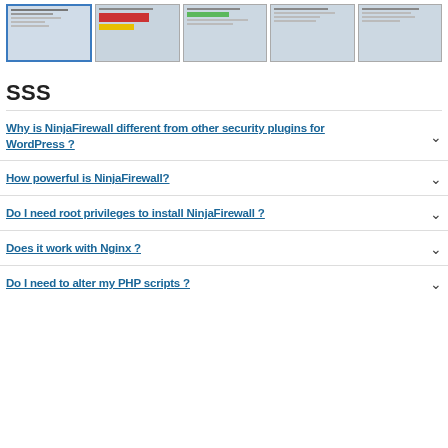[Figure (screenshot): Row of 5 screenshot thumbnails of NinjaFirewall plugin UI; first thumbnail is selected with blue border]
SSS
Why is NinjaFirewall different from other security plugins for WordPress ?
How powerful is NinjaFirewall?
Do I need root privileges to install NinjaFirewall ?
Does it work with Nginx ?
Do I need to alter my PHP scripts ?